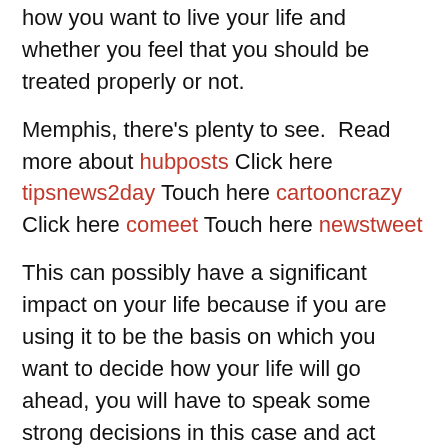how you want to live your life and whether you feel that you should be treated properly or not.
Memphis, there's plenty to see.  Read more about hubposts Click here tipsnews2day Touch here cartooncrazy Click here comeet Touch here newstweet
This can possibly have a significant impact on your life because if you are using it to be the basis on which you want to decide how your life will go ahead, you will have to speak some strong decisions in this case and act definitely according to your values and beliefs. This won't be easy for you and some difficult situations, but you will be able to make some choices that will matter to you and will make you feel confident about the same. Remember that it is not just about how you are looking at yourself but also how you want others to look at you. If you are shaky all the time, things will definitely be out to be difficult for